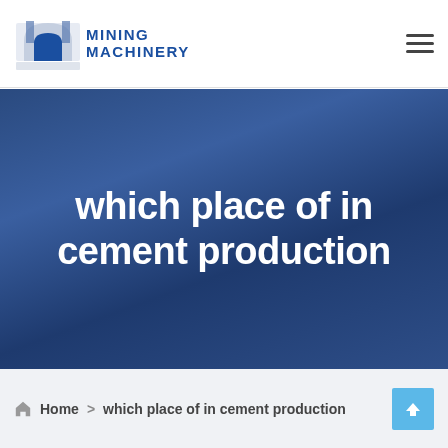MINING MACHINERY
which place of in cement production
Home > which place of in cement production